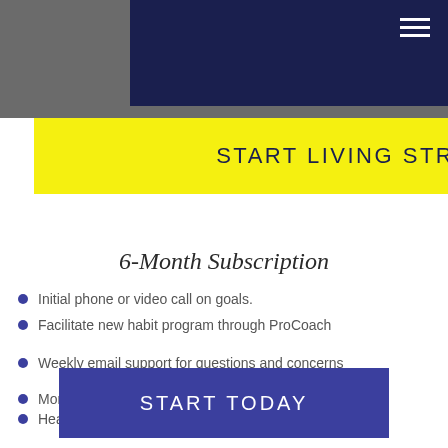START LIVING STRONG
6-Month Subscription
Initial phone or video call on goals.
Facilitate new habit program through ProCoach
Weekly email support for questions and concerns
Monthly progress updates.
Healthy Eating guidance.
START TODAY